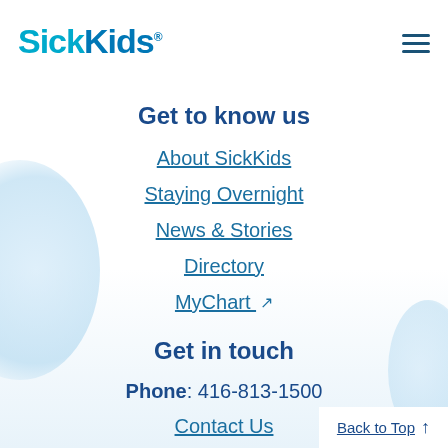SickKids
Get to know us
About SickKids
Staying Overnight
News & Stories
Directory
MyChart
Get in touch
Phone: 416-813-1500
Contact Us
Back to Top ↑